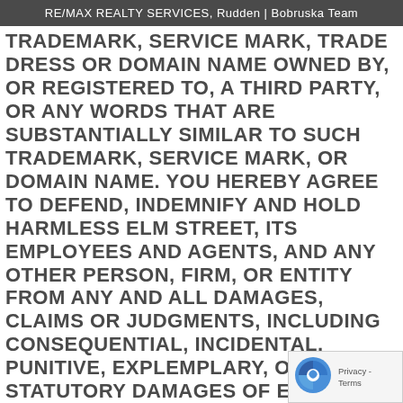RE/MAX REALTY SERVICES, Rudden | Bobruska Team
TRADEMARK, SERVICE MARK, TRADE DRESS OR DOMAIN NAME OWNED BY, OR REGISTERED TO, A THIRD PARTY, OR ANY WORDS THAT ARE SUBSTANTIALLY SIMILAR TO SUCH TRADEMARK, SERVICE MARK, OR DOMAIN NAME. YOU HEREBY AGREE TO DEFEND, INDEMNIFY AND HOLD HARMLESS ELM STREET, ITS EMPLOYEES AND AGENTS, AND ANY OTHER PERSON, FIRM, OR ENTITY FROM ANY AND ALL DAMAGES, CLAIMS OR JUDGMENTS, INCLUDING CONSEQUENTIAL, INCIDENTAL, PUNITIVE, EXPLEMPLARY, OR STATUTORY DAMAGES OF EVERY KIND OR NATURE, SUSPECTED AND UNSUSPECTED, KNOWN AND UNKNOWN, DISCLOSED OR UNDISCLOSED, A… ANY ATTORNEY'S FEES AND LITIGATION COS…